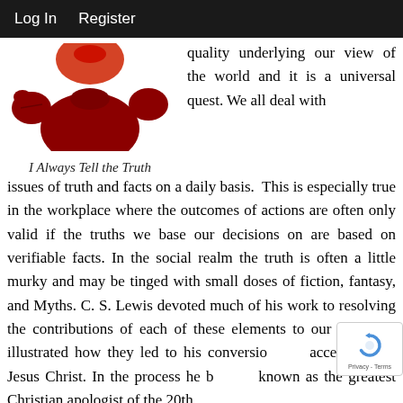Log In   Register
[Figure (illustration): Cartoon illustration of a pinocchio-like character with a long red nose, wearing a red costume, partially cropped at top]
I Always Tell the Truth
quality underlying our view of the world and it is a universal quest. We all deal with issues of truth and facts on a daily basis. This is especially true in the workplace where the outcomes of actions are often only valid if the truths we base our decisions on are based on verifiable facts. In the social realm the truth is often a little murky and may be tinged with small doses of fiction, fantasy, and Myths. C. S. Lewis devoted much of his work to resolving the contributions of each of these elements to our lives and illustrated how they led to his conversion and acceptance of Jesus Christ. In the process he became known as the greatest Christian apologist of the 20th